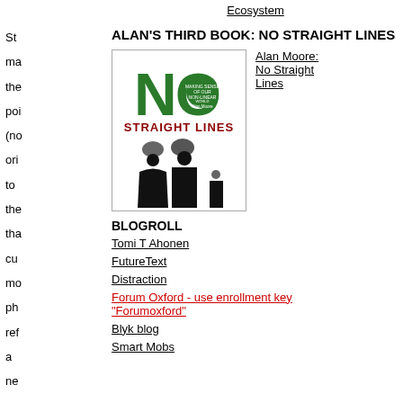Ecosystem
St
ma
the
poi
(no
ori
to
the
tha
cu
mo
ph
ref
a
ne
ge
of
ALAN'S THIRD BOOK: NO STRAIGHT LINES
[Figure (illustration): Book cover of 'No Straight Lines' by Alan Moore. Large green 'NO' text at top, 'STRAIGHT LINES' in dark red below, with silhouettes of a family (woman, man, child) with brain-like heads.]
Alan Moore: No Straight Lines
BLOGROLL
Tomi T Ahonen
FutureText
Distraction
Forum Oxford - use enrollment key "Forumoxford"
Blyk blog
Smart Mobs